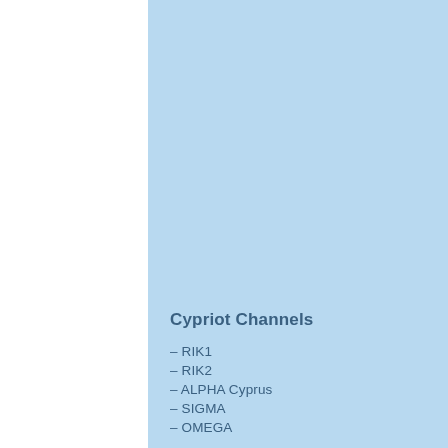Cypriot Channels
– RIK1
– RIK2
– ALPHA Cyprus
– SIGMA
– OMEGA